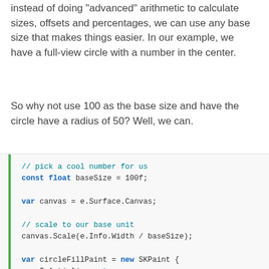instead of doing "advanced" arithmetic to calculate sizes, offsets and percentages, we can use any base size that makes things easier. In our example, we have a full-view circle with a number in the center.
So why not use 100 as the base size and have the circle have a radius of 50? Well, we can.
// pick a cool number for us
const float baseSize = 100f;

var canvas = e.Surface.Canvas;

// scale to our base unit
canvas.Scale(e.Info.Width / baseSize);

var circleFillPaint = new SKPaint {
    IsAntialias = true,
    Style = SKPaintStyle.Fill,
    Color = 0xFFFF5722,
};

// center of 50x50 and a radius of 50
canvas.DrawCircle(50f, 50f, 50f, circleFillPai

// we can even use nice numbers for font sizes
var textPaint = new SKPaint {